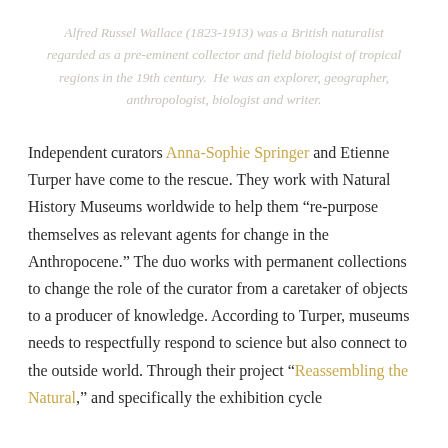Alfred Russel Wallace (1823-1913) was a British naturalist regarded as a pre-eminent collector and field biologist of tropical regions in the 19th century.  He was an explorer, geographer, anthropologist, biologist and writer.
Independent curators Anna-Sophie Springer and Etienne Turper have come to the rescue. They work with Natural History Museums worldwide to help them “re-purpose themselves as relevant agents for change in the Anthropocene.” The duo works with permanent collections to change the role of the curator from a caretaker of objects to a producer of knowledge. According to Turper, museums needs to respectfully respond to science but also connect to the outside world. Through their project “Reassembling the Natural,” and specifically the exhibition cycle